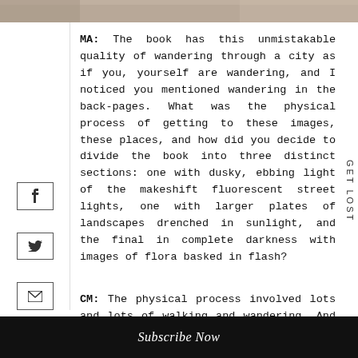[Figure (photo): Partial photo strip visible at top of page]
MA: The book has this unmistakable quality of wandering through a city as if you, yourself are wandering, and I noticed you mentioned wandering in the back-pages. What was the physical process of getting to these images, these places, and how did you decide to divide the book into three distinct sections: one with dusky, ebbing light of the makeshift fluorescent street lights, one with larger plates of landscapes drenched in sunlight, and the final in complete darkness with images of flora basked in flash?
CM: The physical process involved lots and lots of walking and wandering. And creeping around in jungles and gardens in complete darkness, save
Subscribe Now